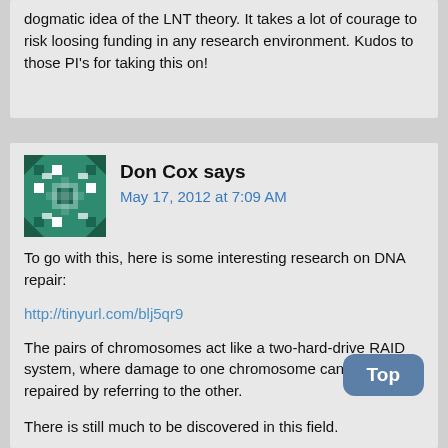dogmatic idea of the LNT theory. It takes a lot of courage to risk loosing funding in any research environment. Kudos to those PI's for taking this on!
Don Cox says
May 17, 2012 at 7:09 AM
To go with this, here is some interesting research on DNA repair:
http://tinyurl.com/blj5qr9
The pairs of chromosomes act like a two-hard-drive RAID system, where damage to one chromosome can be repaired by referring to the other.
There is still much to be discovered in this field.